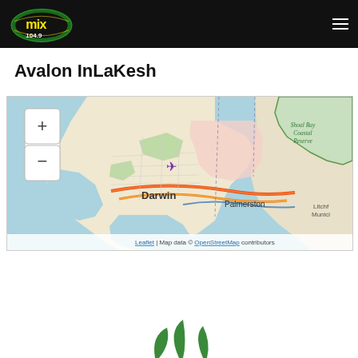Mix 104.9 logo header with hamburger menu
Avalon InLaKesh
[Figure (map): Interactive Leaflet map showing Darwin and Palmerston area in Northern Territory, Australia. Shows Shoal Bay Coastal Reserve to the northeast, airport marker over Darwin CBD, and roads including orange/red highway arcs. Map attribution: Leaflet | Map data © OpenStreetMap contributors.]
[Figure (logo): Partial green leaf logo visible at bottom of page]